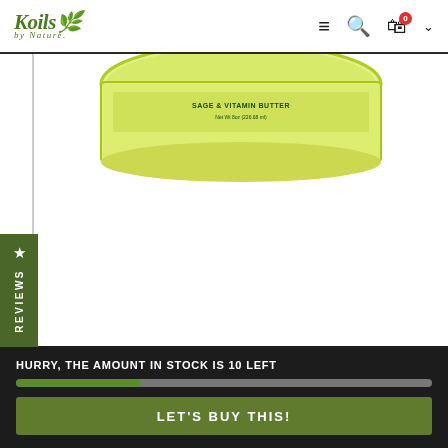Koils by Nature — navigation bar with logo, hamburger menu, search, cart (0), chevron
[Figure (photo): Product jar of Sage & Lemongrass Deep Treatment with Rice Protein — green/yellow labeled jar top visible against white background, partial product image cropped from top]
★ REVIEWS (vertical tab on left side)
Sage & Lemongrass Deep Treatment with Rice Protein
HURRY, THE AMOUNT IN STOCK IS 10 LEFT
LET'S BUY THIS!